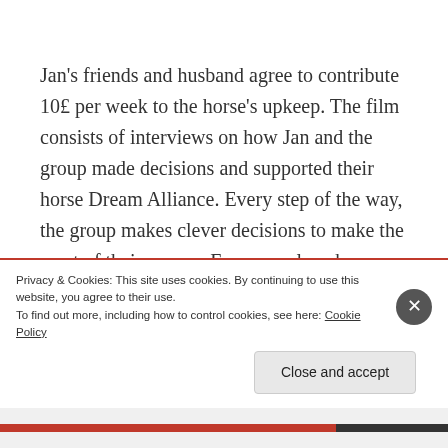Jan's friends and husband agree to contribute 10£ per week to the horse's upkeep. The film consists of interviews on how Jan and the group made decisions and supported their horse Dream Alliance. Every step of the way, the group makes clever decisions to make the most of their money. For example, when choosing a trainer, Jan convinced the others that they had to get the best because a good trainer can do wonders with an average horse, but a mediocre trainer can ruin a
Privacy & Cookies: This site uses cookies. By continuing to use this website, you agree to their use.
To find out more, including how to control cookies, see here: Cookie Policy
Close and accept